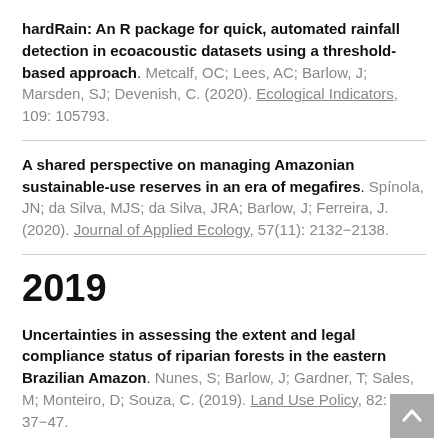hardRain: An R package for quick, automated rainfall detection in ecoacoustic datasets using a threshold-based approach. Metcalf, OC; Lees, AC; Barlow, J; Marsden, SJ; Devenish, C. (2020). Ecological Indicators, 109: 105793.
A shared perspective on managing Amazonian sustainable-use reserves in an era of megafires. Spínola, JN; da Silva, MJS; da Silva, JRA; Barlow, J; Ferreira, J. (2020). Journal of Applied Ecology, 57(11): 2132–2138.
2019
Uncertainties in assessing the extent and legal compliance status of riparian forests in the eastern Brazilian Amazon. Nunes, S; Barlow, J; Gardner, T; Sales, M; Monteiro, D; Souza, C. (2019). Land Use Policy, 82: 37–47.